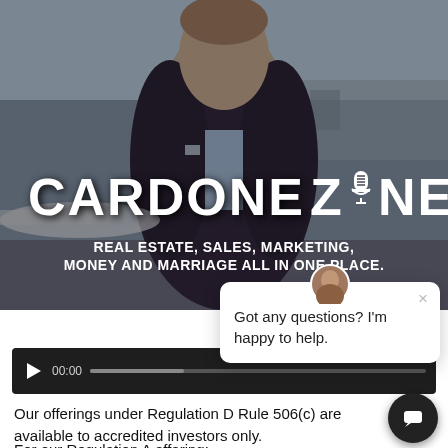[Figure (photo): Hero image showing a man in a dark plaid blazer standing in front of a private jet on a tarmac. Large 'CARDONE ZONE' text with microphone icon overlaid. Tagline: 'REAL ESTATE, SALES, MARKETING, MONEY AND MARRIAGE ALL IN ONE PLACE.']
[Figure (screenshot): Chat popup overlay with avatar and text: 'Got any questions? I'm happy to help.']
[Figure (screenshot): Audio player bar showing play button, 00:00 timestamp, and progress bar]
Our offerings under Regulation D Rule 506(c) are available to accredited investors only.
For our Regulation A offering: